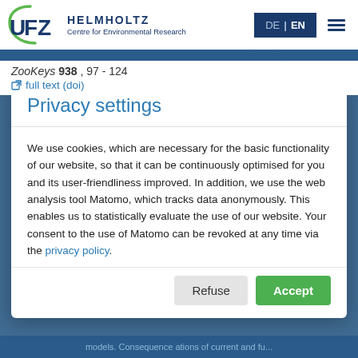[Figure (logo): UFZ Helmholtz Centre for Environmental Research logo with circular arc and UFZ text]
DE | EN [hamburger menu]
ZooKeys 938 , 97 - 124
 full text (doi)
Privacy settings
We use cookies, which are necessary for the basic functionality of our website, so that it can be continuously optimised for you and its user-friendliness improved. In addition, we use the web analysis tool Matomo, which tracks data anonymously. This enables us to statistically evaluate the use of our website. Your consent to the use of Matomo can be revoked at any time via the privacy policy.
Refuse  Accept